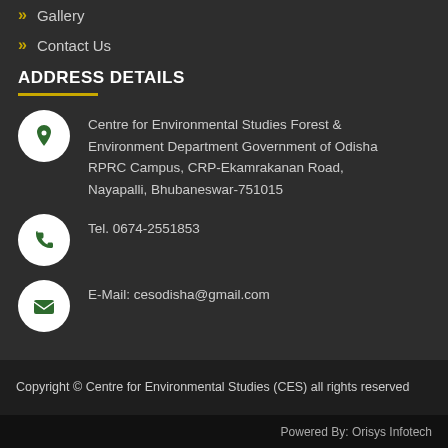Gallery
Contact Us
ADDRESS DETAILS
Centre for Environmental Studies Forest & Environment Department Government of Odisha RPRC Campus, CRP-Ekamrakanan Road, Nayapalli, Bhubaneswar-751015
Tel. 0674-2551853
E-Mail: cesodisha@gmail.com
Copyright © Centre for Environmental Studies (CES) all rights reserved
Powered By: Orisys Infotech